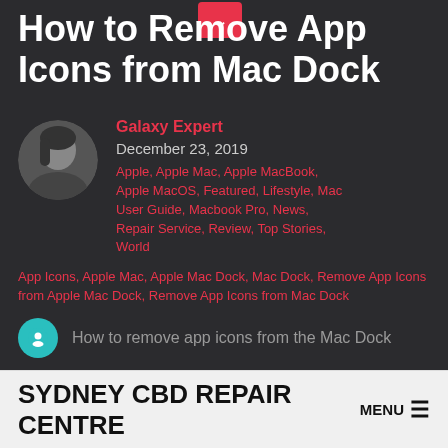How to Remove App Icons from Mac Dock
Galaxy Expert
December 23, 2019
Apple, Apple Mac, Apple MacBook, Apple MacOS, Featured, Lifestyle, Mac User Guide, Macbook Pro, News, Repair Service, Review, Top Stories, World App Icons, Apple Mac, Apple Mac Dock, Mac Dock, Remove App Icons from Apple Mac Dock, Remove App Icons from Mac Dock
How to remove app icons from the Mac Dock
SYDNEY CBD REPAIR CENTRE MENU